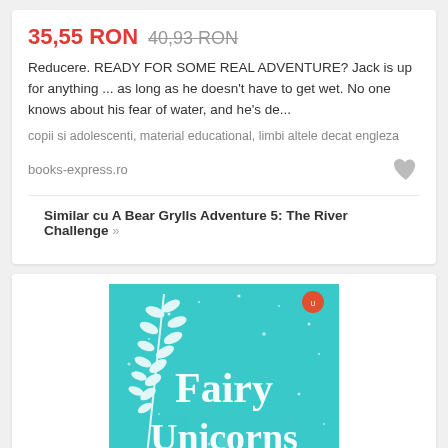35,55 RON 40,93 RON
Reducere. READY FOR SOME REAL ADVENTURE? Jack is up for anything ... as long as he doesn't have to get wet. No one knows about his fear of water, and he's de...
copii si adolescenti, material educational, limbi altele decat engleza
books-express.ro
Similar cu A Bear Grylls Adventure 5: The River Challenge »
[Figure (illustration): Book cover of 'Fairy Unicorns' — teal/turquoise background with white sparkles, decorative white leaf branch on left, title text 'Fairy Unicorns' in large white letters, and a small girl riding a unicorn at the bottom.]